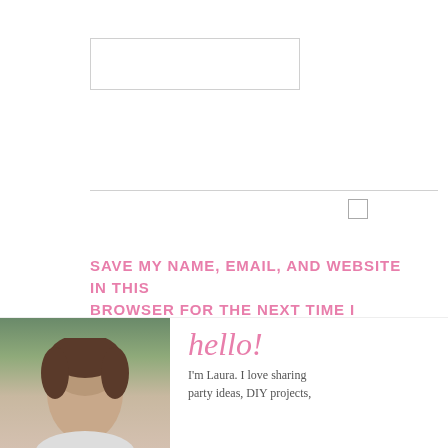[Figure (screenshot): A white input text box (form field) with a light gray border]
[Figure (screenshot): A horizontal rule with a small checkbox on the right side]
SAVE MY NAME, EMAIL, AND WEBSITE IN THIS BROWSER FOR THE NEXT TIME I COMMENT.
[Figure (screenshot): A pink rectangular button labeled POST COMMENT]
[Figure (photo): A photo of a woman (Laura) with brown hair, smiling]
hello!
I'm Laura. I love sharing party ideas, DIY projects,